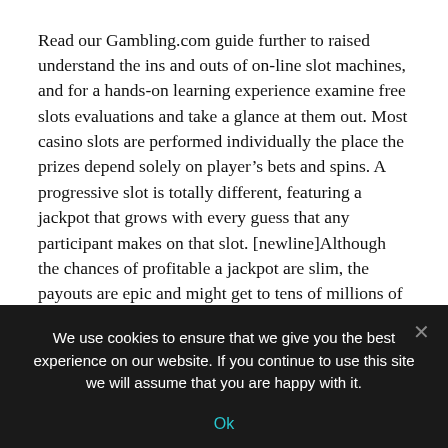Read our Gambling.com guide further to raised understand the ins and outs of on-line slot machines, and for a hands-on learning experience examine free slots evaluations and take a glance at them out. Most casino slots are performed individually the place the prizes depend solely on player's bets and spins. A progressive slot is totally different, featuring a jackpot that grows with every guess that any participant makes on that slot. [newline]Although the chances of profitable a jackpot are slim, the payouts are epic and might get to tens of millions of pounds. If are an experienced slots player that is conversant in the gameplay and settings, you will discover in our Gambling.com
We use cookies to ensure that we give you the best experience on our website. If you continue to use this site we will assume that you are happy with it.
Ok